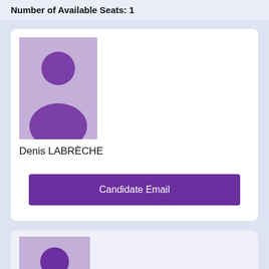Number of Available Seats: 1
[Figure (illustration): Placeholder avatar silhouette of a person in purple/lavender colors for candidate Denis LABRÈCHE]
Denis LABRÈCHE
Candidate Email
[Figure (illustration): Placeholder avatar silhouette of a person in purple/lavender colors for a second candidate card (partially visible)]